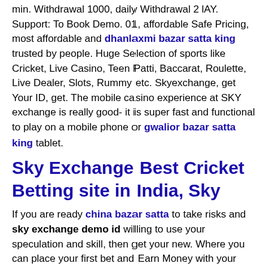min. Withdrawal 1000, daily Withdrawal 2 lAY. Support: To Book Demo. 01, affordable Safe Pricing, most affordable and dhanlaxmi bazar satta king trusted by people. Huge Selection of sports like Cricket, Live Casino, Teen Patti, Baccarat, Roulette, Live Dealer, Slots, Rummy etc. Skyexchange, get Your ID, get. The mobile casino experience at SKY exchange is really good- it is super fast and functional to play on a mobile phone or gwalior bazar satta king tablet.
Sky Exchange Best Cricket Betting site in India, Sky
If you are ready china bazar satta to take risks and sky exchange demo id willing to use your speculation and skill, then get your new. Where you can place your first bet and Earn Money with your knowledge, skills, and experience. Betting Experience, support, affordable Pricing skyexchange, get Your ID, get. We Provide, sky, exchange, Sky inplay, Client id s and All Master/Agent,